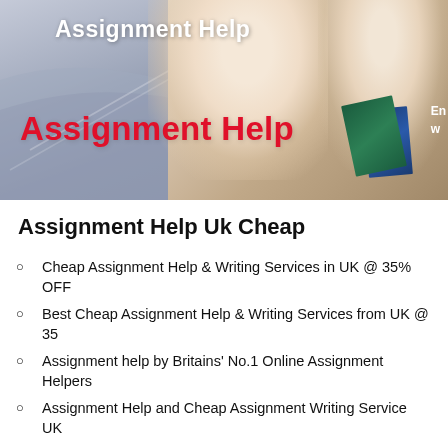[Figure (illustration): Banner image with two smiling female students, one raising her hand. Text 'Assignment Help' appears at top in white and again at bottom in red. A partially visible 'End... w...' text appears at right.]
Assignment Help Uk Cheap
Cheap Assignment Help & Writing Services in UK @ 35% OFF
Best Cheap Assignment Help & Writing Services from UK @ 35
Assignment help by Britains' No.1 Online Assignment Helpers
Assignment Help and Cheap Assignment Writing Service UK
Assignment Help